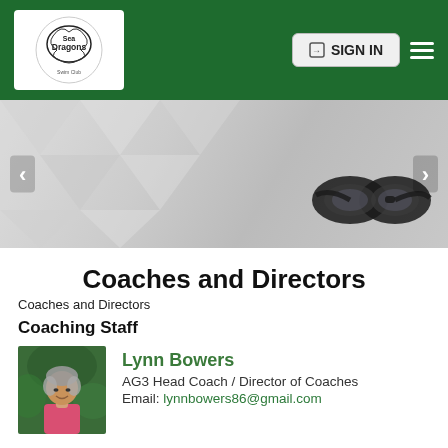[Figure (logo): Sea Dragons swim club logo — dragon graphic in circle with text]
[Figure (screenshot): Navigation header with dark green background, Sea Dragons logo on left, Sign In button and hamburger menu on right]
[Figure (photo): Grayscale hero banner image showing swimming goggles on the right side against a geometric textured background, with left and right carousel arrows]
Coaches and Directors
Coaches and Directors
Coaching Staff
[Figure (photo): Photo of Lynn Bowers, a woman with short gray hair wearing a pink shirt, outdoors with green foliage background]
Lynn Bowers
AG3 Head Coach / Director of Coaches
Email: lynnbowers86@gmail.com